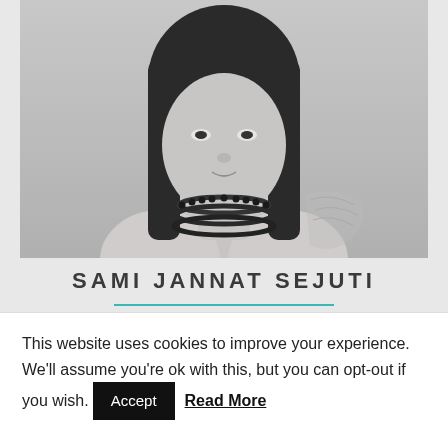[Figure (photo): Black and white portrait photo of a woman with long dark hair wearing a multi-strand bead necklace]
SAMI JANNAT SEJUTI
JR PROJECT MANAGER
This website uses cookies to improve your experience. We'll assume you're ok with this, but you can opt-out if you wish. Accept Read More